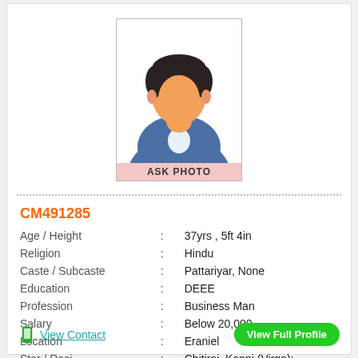[Figure (illustration): Generic male avatar placeholder with 'ASK PHOTO' label on pink background]
CM491285
| Age / Height | : | 37yrs , 5ft 4in |
| Religion | : | Hindu |
| Caste / Subcaste | : | Pattariyar, None |
| Education | : | DEEE |
| Profession | : | Business Man |
| Salary | : | Below 20,000 |
| Location | : | Eraniel |
| Star / Rasi | : | Chitirai ,Kanni (Virgo); |
View Contact
View Full Profile